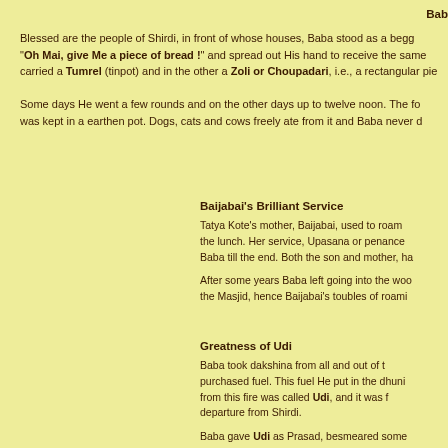Bab
Blessed are the people of Shirdi, in front of whose houses, Baba stood as a begg "Oh Mai, give Me a piece of bread !" and spread out His hand to receive the same carried a Tumrel (tinpot) and in the other a Zoli or Choupadari, i.e., a rectangular pie
Some days He went a few rounds and on the other days up to twelve noon. The fo was kept in a earthen pot. Dogs, cats and cows freely ate from it and Baba never d
Baijabai's Brilliant Service
Tatya Kote's mother, Baijabai, used to roam the lunch. Her service, Upasana or penance Baba till the end. Both the son and mother, ha
After some years Baba left going into the woo the Masjid, hence Baijabai's toubles of roami
Greatness of Udi
Baba took dakshina from all and out of t purchased fuel. This fuel He put in the dhuni from this fire was called Udi, and it was f departure from Shirdi.
Baba gave Udi as Prasad, besmeared some hand on them. When Baba was in a cheerful